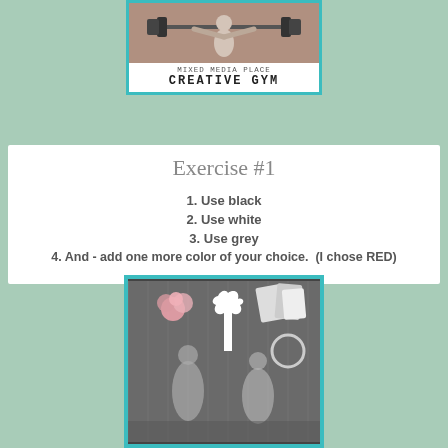[Figure (illustration): Mixed Media Place Creative Gym logo card with a vintage black and white photo of a woman lifting a barbell, with the text 'Mixed Media Place' and 'Creative Gym' below, framed in teal border]
Exercise #1
1. Use black
2. Use white
3. Use grey
4. And - add one more color of your choice.  (I chose RED)
[Figure (photo): Mixed media art piece showing collaged figures including a bird/deer shape, human silhouettes, cards/papers, and pink floral elements on grey background, framed in teal border]